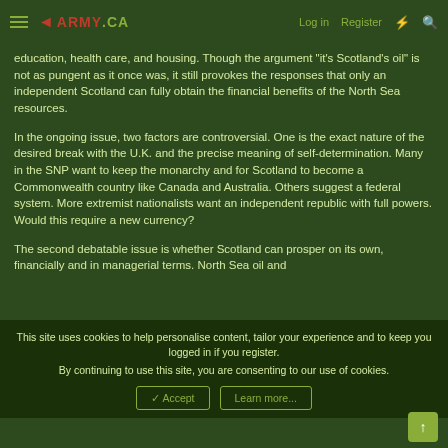ARMY.CA  Log in  Register
education, health care, and housing.  Though the argument "it's Scotland's oil" is not as pungent as it once was, it still provokes the responses that only an independent Scotland can fully obtain the financial benefits of the North Sea resources.
In the ongoing issue, two factors are controversial.  One is the exact nature of the desired break with the U.K. and the precise meaning of self-determination.  Many in the SNP want to keep the monarchy and for Scotland to become a Commonwealth country like Canada and Australia.  Others suggest a federal system.  More extremist nationalists want an independent republic with full powers.  Would this require a new currency?
The second debatable issue is whether Scotland can prosper on its own, financially and in managerial terms.  North Sea oil and
This site uses cookies to help personalise content, tailor your experience and to keep you logged in if you register.
By continuing to use this site, you are consenting to our use of cookies.